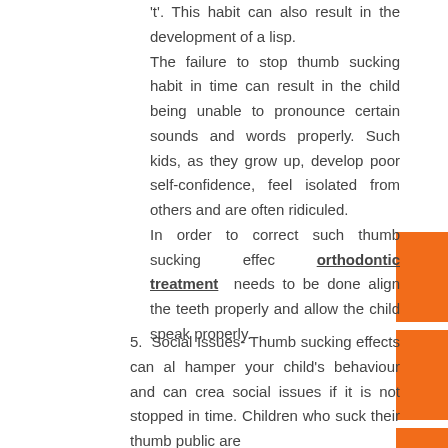't'. This habit can also result in the development of a lisp. The failure to stop thumb sucking habit in time can result in the child being unable to pronounce certain sounds and words properly. Such kids, as they grow up, develop poor self-confidence, feel isolated from others and are often ridiculed. In order to correct such thumb sucking effects, orthodontic treatment needs to be done to align the teeth properly and allow the child to speak properly.
5. Social Issues- Thumb sucking effects can also hamper your child's behaviour and can create social issues if it is not stopped in time. Children who suck their thumb public are ridiculed by their friends and can be aware of it...